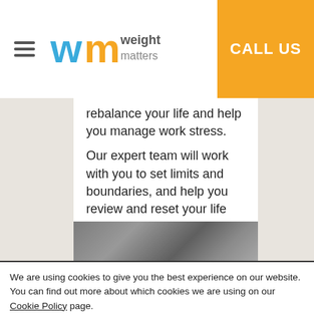CALL US
rebalance your life and help you manage work stress.
Our expert team will work with you to set limits and boundaries, and help you review and reset your life and career goals.
#therapy #stress
[Figure (photo): Partial photo of a person, likely holding a phone, visible at the bottom of content card]
We are using cookies to give you the best experience on our website.
You can find out more about which cookies we are using on our Cookie Policy page.
Accept